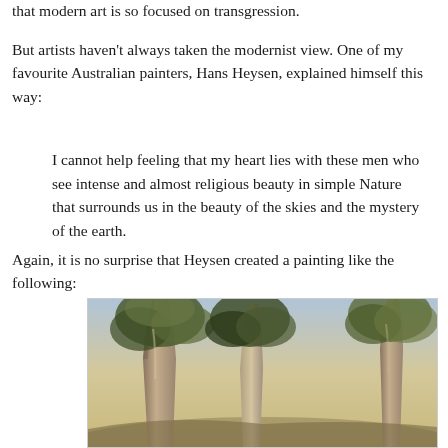that modern art is so focused on transgression.
But artists haven't always taken the modernist view. One of my favourite Australian painters, Hans Heysen, explained himself this way:
I cannot help feeling that my heart lies with these men who see intense and almost religious beauty in simple Nature that surrounds us in the beauty of the skies and the mystery of the earth.
Again, it is no surprise that Heysen created a painting like the following:
[Figure (illustration): A painting by Hans Heysen showing large eucalyptus gum trees with tall pale trunks and leafy canopies against a warm sky, rendered in naturalistic oil painting style.]